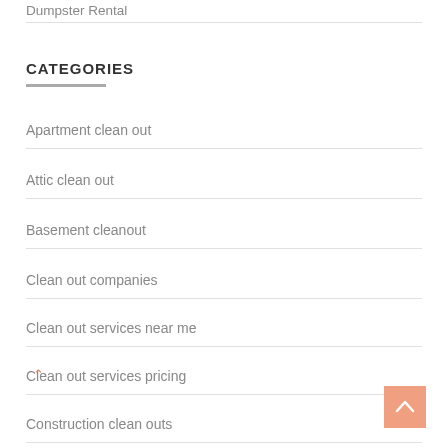Dumpster Rental
CATEGORIES
Apartment clean out
Attic clean out
Basement cleanout
Clean out companies
Clean out services near me
Clean out services pricing
Construction clean outs
Eviction clean out